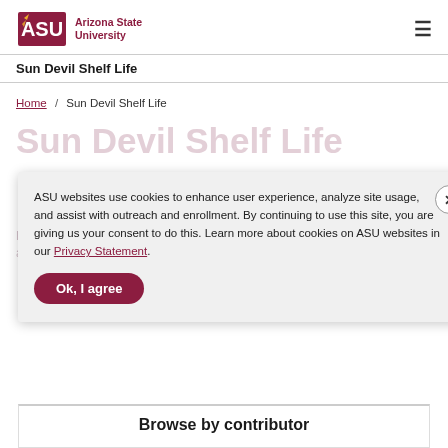[Figure (logo): Arizona State University logo with ASU text in maroon and 'Arizona State University' wordmark]
Sun Devil Shelf Life
Home / Sun Devil Shelf Life
Sun Devil Shelf Life
ASU websites use cookies to enhance user experience, analyze site usage, and assist with outreach and enrollment. By continuing to use this site, you are giving us your consent to do this. Learn more about cookies on ASU websites in our Privacy Statement.
Ok, I agree
Browse by contributor